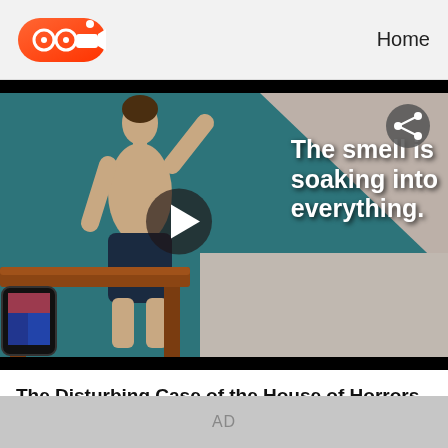Home
[Figure (screenshot): Video thumbnail showing a shirtless man in dark shorts near a desk, with overlaid text reading 'The smell is soaking into everything.' A play button is visible in the center and a share icon in the top right corner.]
The Disturbing Case of the House of Horrors Killer
1views • 2022/3/10
AD